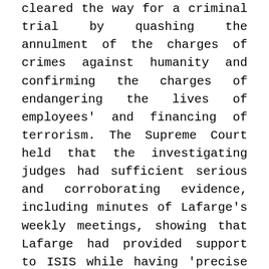cleared the way for a criminal trial by quashing the annulment of the charges of crimes against humanity and confirming the charges of endangering the lives of employees' and financing of terrorism. The Supreme Court held that the investigating judges had sufficient serious and corroborating evidence, including minutes of Lafarge's weekly meetings, showing that Lafarge had provided support to ISIS while having 'precise knowledge' of the criminal nature of this terrorist group's activities which were 'likely to constitute crimes against humanity'. The Supreme Court also found that 'knowingly paying several million dollars to an organisation whose